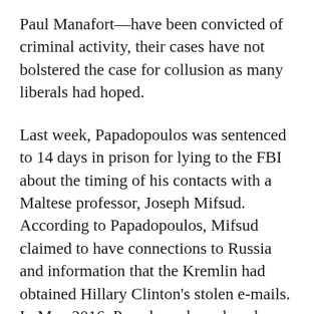Paul Manafort—have been convicted of criminal activity, their cases have not bolstered the case for collusion as many liberals had hoped.
Last week, Papadopoulos was sentenced to 14 days in prison for lying to the FBI about the timing of his contacts with a Maltese professor, Joseph Mifsud. According to Papadopoulos, Mifsud claimed to have connections to Russia and information that the Kremlin had obtained Hillary Clinton's stolen e-mails. In May 2016, Papadopoulos relayed vague details about his conversation with Mifsud to Australian diplomat Alexander